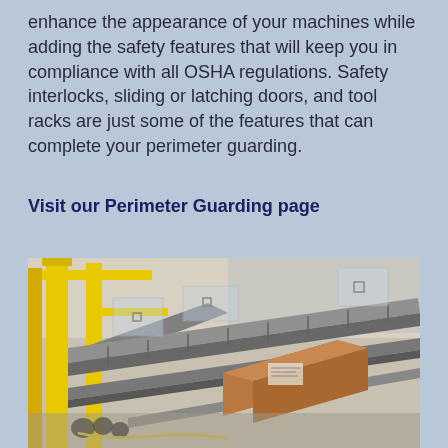enhance the appearance of your machines while adding the safety features that will keep you in compliance with all OSHA regulations. Safety interlocks, sliding or latching doors, and tool racks are just some of the features that can complete your perimeter guarding.
Visit our Perimeter Guarding page
[Figure (photo): Industrial conveyor system with roller belts in a warehouse/factory setting. Yellow safety guard posts are visible on the left side. Packages/boxes are on the conveyor rollers. Transparent guarding panels are visible along the conveyor line.]